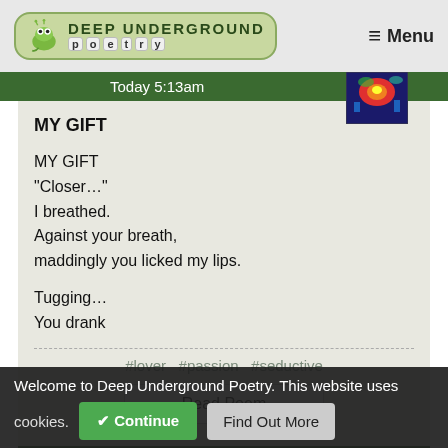Deep Underground Poetry  ≡ Menu
Today 5:13am
MY GIFT
MY GIFT
"Closer..."
I breathed.
Against your breath,
maddingly you licked my lips.

Tugging...
You drank
#lover  #passion  #seductive
Read Poem
Welcome to Deep Underground Poetry. This website uses cookies.
✔ Continue  Find Out More